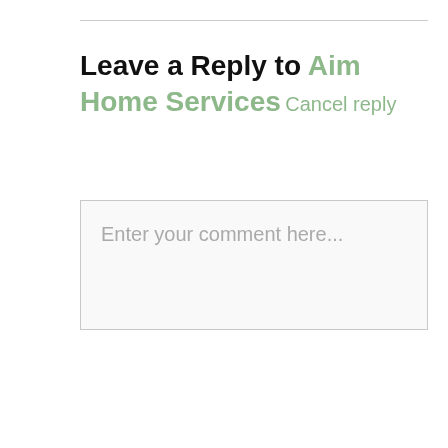Leave a Reply to Aim Home Services Cancel reply
Enter your comment here...